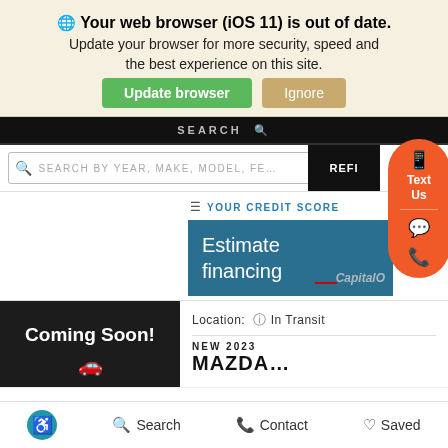Your web browser (iOS 11) is out of date. Update your browser for more security, speed and the best experience on this site. Update browser | Ignore
[Figure (screenshot): Web browser update warning banner with green 'Update browser' button and tan 'Ignore' button]
[Figure (screenshot): Car dealership website showing search bar, REFI button, credit score panel with 'Estimate financing' and Capital One, orange floating action buttons (text, chat, phone), Coming Soon listing card with Location: In Transit, NEW 2023 MAZDA heading, and bottom navigation bar with accessibility, Search, Contact, Saved icons.]